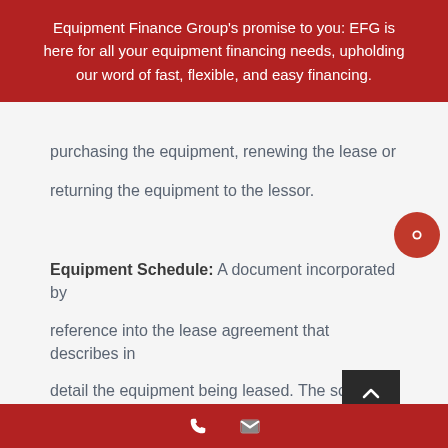Equipment Finance Group's promise to you: EFG is here for all your equipment financing needs, upholding our word of fast, flexible, and easy financing.
purchasing the equipment, renewing the lease or returning the equipment to the lessor.
Equipment Schedule:  A document incorporated by reference into the lease agreement that describes in detail the equipment being leased. The schedule may state the lease term, commencement date, repayment schedule and location of the equipment.